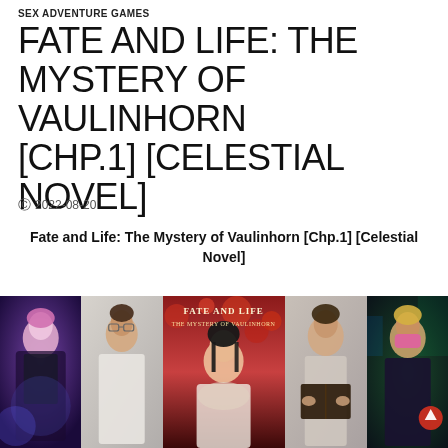SEX ADVENTURE GAMES
FATE AND LIFE: THE MYSTERY OF VAULINHORN [CHP.1] [CELESTIAL NOVEL]
2022-08-20
Fate and Life: The Mystery of Vaulinhorn [Chp.1] [Celestial Novel]
[Figure (photo): Five-panel image strip showing characters from the game: a female character with pink hair in dark outfit, a male character with glasses, a female character with dark hair against autumn background with 'FATE AND LIFE THE MYSTERY OF VAULINHORN' title text, a female character reading a book, and a female character with blonde hair and pink bandana in a dark urban setting with an upward arrow button.]